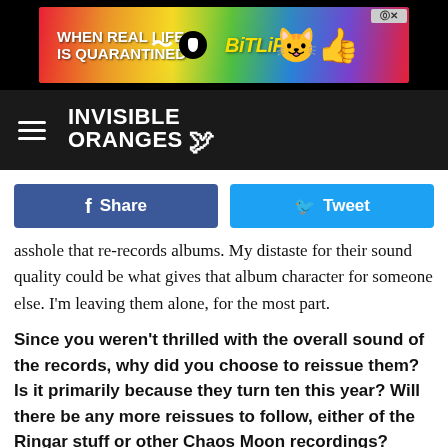[Figure (screenshot): BitLife advertisement banner with rainbow gradient background, text 'WHEN REAL LIFE IS QUARANTINED' and 'BitLiFE' logo with emoji mascot]
INVISIBLE ORANGES
Share | Tweet (social media buttons)
asshole that re-records albums. My distaste for their sound quality could be what gives that album character for someone else. I'm leaving them alone, for the most part.
Since you weren't thrilled with the overall sound of the records, why did you choose to reissue them? Is it primarily because they turn ten this year? Will there be any more reissues to follow, either of the Ringar stuff or other Chaos Moon recordings?